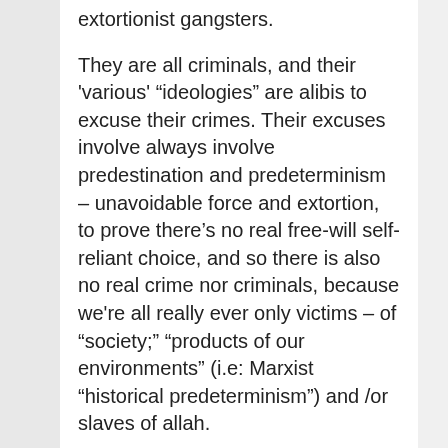extortionist gangsters.
They are all criminals, and their 'various' “ideologies” are alibis to excuse their crimes. Their excuses involve always involve predestination and predeterminism – unavoidable force and extortion, to prove there’s no real free-will self-reliant choice, and so there is also no real crime nor criminals, because we're all really ever only victims – of “society;” “products of our environments” (i.e: Marxist “historical predeterminism”) and /or slaves of allah.
This criminal propensity for excuse-